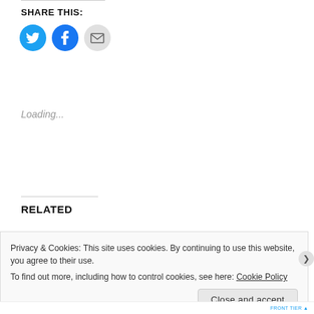SHARE THIS:
[Figure (illustration): Three social sharing icon circles: Twitter (cyan/blue bird icon), Facebook (blue 'f' icon), and Email (gray envelope icon)]
Loading...
RELATED
Privacy & Cookies: This site uses cookies. By continuing to use this website, you agree to their use.
To find out more, including how to control cookies, see here: Cookie Policy
Close and accept